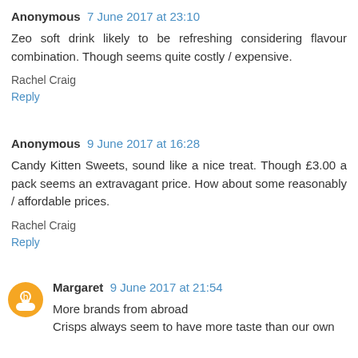Anonymous 7 June 2017 at 23:10
Zeo soft drink likely to be refreshing considering flavour combination. Though seems quite costly / expensive.
Rachel Craig
Reply
Anonymous 9 June 2017 at 16:28
Candy Kitten Sweets, sound like a nice treat. Though £3.00 a pack seems an extravagant price. How about some reasonably / affordable prices.
Rachel Craig
Reply
Margaret 9 June 2017 at 21:54
More brands from abroad
Crisps always seem to have more taste than our own